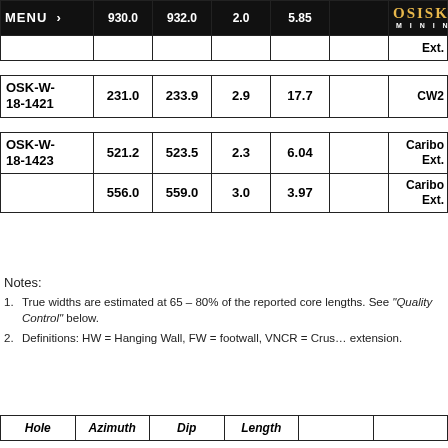| Hole | From | To | Width | Au g/t |  | Zone |
| --- | --- | --- | --- | --- | --- | --- |
|  | 930.0 | 932.0 | 2.0 | 5.85 |  | Ext. |
|  |  |  |  |  |  |  |
| OSK-W-18-1421 | 231.0 | 233.9 | 2.9 | 17.7 |  | CW2 |
| OSK-W-18-1423 | 521.2 | 523.5 | 2.3 | 6.04 |  | Cariboo Ext. |
|  | 556.0 | 559.0 | 3.0 | 3.97 |  | Cariboo Ext. |
Notes:
1. True widths are estimated at 65 – 80% of the reported core lengths. See "Quality Control" below.
2. Definitions: HW = Hanging Wall, FW = footwall, VNCR = Crushed vein extension.
| Hole | Azimuth | Dip | Length |  |  |
| --- | --- | --- | --- | --- | --- |